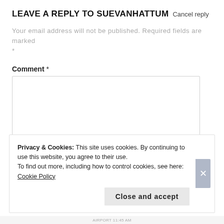LEAVE A REPLY TO SUEVANHATTUM Cancel reply
Your email address will not be published. Required fields are marked *
Comment *
Privacy & Cookies: This site uses cookies. By continuing to use this website, you agree to their use.
To find out more, including how to control cookies, see here: Cookie Policy
Close and accept
AIRPORT 11:45 AM